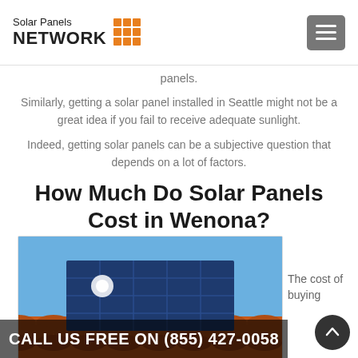Solar Panels NETWORK
panels.
Similarly, getting a solar panel installed in Seattle might not be a great idea if you fail to receive adequate sunlight.
Indeed, getting solar panels can be a subjective question that depends on a lot of factors.
How Much Do Solar Panels Cost in Wenona?
[Figure (photo): Solar panels installed on an orange tiled roof against a blue sky]
The cost of buying
CALL US FREE ON (855) 427-0058